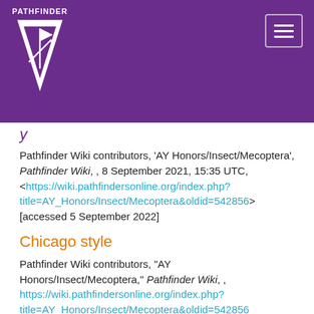PATHFINDER (logo/navigation header)
y (partial, italic purple heading)
Pathfinder Wiki contributors, 'AY Honors/Insect/Mecoptera', Pathfinder Wiki, , 8 September 2021, 15:35 UTC, <https://wiki.pathfindersonline.org/index.php?title=AY_Honors/Insect/Mecoptera&oldid=542856> [accessed 5 September 2022]
Chicago style
Pathfinder Wiki contributors, "AY Honors/Insect/Mecoptera," Pathfinder Wiki, , https://wiki.pathfindersonline.org/index.php?title=AY_Honors/Insect/Mecoptera&oldid=542856 (accessed September 5, 2022).
CBE/CSE style